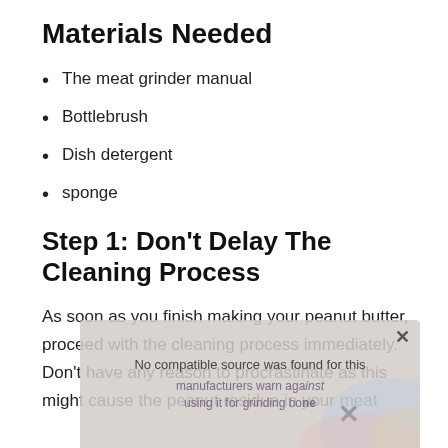Materials Needed
The meat grinder manual
Bottlebrush
Dish detergent
sponge
Step 1: Don’t Delay The Cleaning Process
As soon as you finish making your peanut butter, proceed with the cleaning process immediately. Don’t have any reason to procrastinate as this might cause the peanut residue in your meat